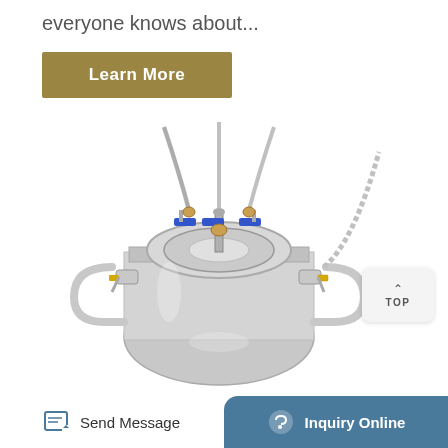everyone knows about...
Learn More
[Figure (photo): Top view of a stainless steel pressure vessel/tank with multiple valves, blue handled ball valves, braided hoses, and side handles]
TOP
Send Message | Inquiry Online